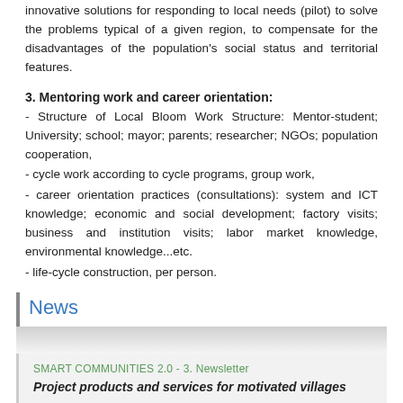innovative solutions for responding to local needs (pilot) to solve the problems typical of a given region, to compensate for the disadvantages of the population's social status and territorial features.
3. Mentoring work and career orientation:
- Structure of Local Bloom Work Structure: Mentor-student; University; school; mayor; parents; researcher; NGOs; population cooperation,
- cycle work according to cycle programs, group work,
- career orientation practices (consultations): system and ICT knowledge; economic and social development; factory visits; business and institution visits; labor market knowledge, environmental knowledge...etc.
- life-cycle construction, per person.
News
SMART COMMUNITIES 2.0 - 3. Newsletter
Project products and services for motivated villages